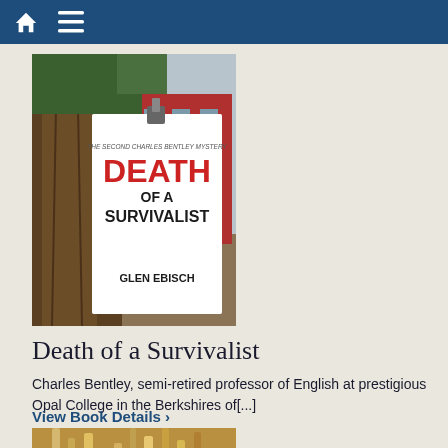Navigation header with home and menu icons
[Figure (photo): Book cover of 'Death of a Survivalist' by Glen Ebisch — shows a note pinned to a tree with a red brick building in the background. Text on cover: 'THE SECOND CHARLES BENTLEY MYSTERY', 'DEATH OF A SURVIVALIST', 'GLEN EBISCH']
Death of a Survivalist
Charles Bentley, semi-retired professor of English at prestigious Opal College in the Berkshires of[...]
View Book Details ›
[Figure (photo): Book cover of 'To Die for Art' — The Third Charles Bentley Mystery. Shows paintbrushes and art supplies with a yellow/amber bottle. Text: 'THE THIRD CHARLES BENTLEY MYSTERY', 'TO DIE FOR ART']